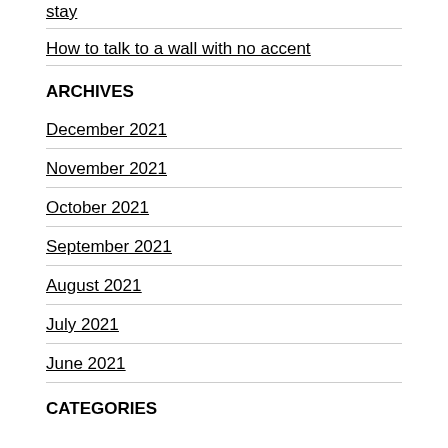stay
How to talk to a wall with no accent
ARCHIVES
December 2021
November 2021
October 2021
September 2021
August 2021
July 2021
June 2021
CATEGORIES